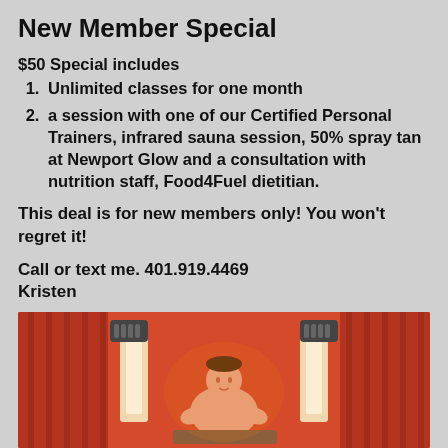New Member Special
$50 Special includes
Unlimited classes for one month
a session with one of our Certified Personal Trainers, infrared sauna session, 50% spray tan at Newport Glow and a consultation with nutrition staff, Food4Fuel dietitian.
This deal is for new members only!  You won't regret it!
Call or text me. 401.919.4469 Kristen
[Figure (illustration): Illustration of a person sitting in an infrared sauna with a warm orange-red background and wood panel walls.]